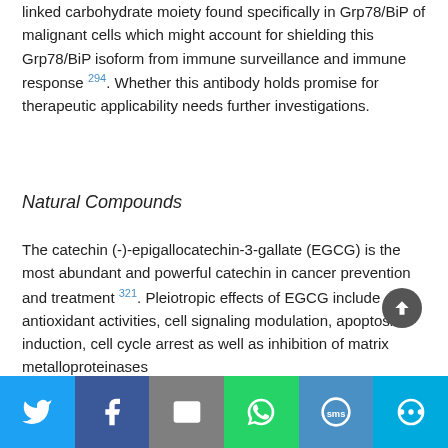linked carbohydrate moiety found specifically in Grp78/BiP of malignant cells which might account for shielding this Grp78/BiP isoform from immune surveillance and immune response 294. Whether this antibody holds promise for therapeutic applicability needs further investigations.
Natural Compounds
The catechin (-)-epigallocatechin-3-gallate (EGCG) is the most abundant and powerful catechin in cancer prevention and treatment 321. Pleiotropic effects of EGCG include antioxidant activities, cell signaling modulation, apoptosis induction, cell cycle arrest as well as inhibition of matrix metalloproteinases